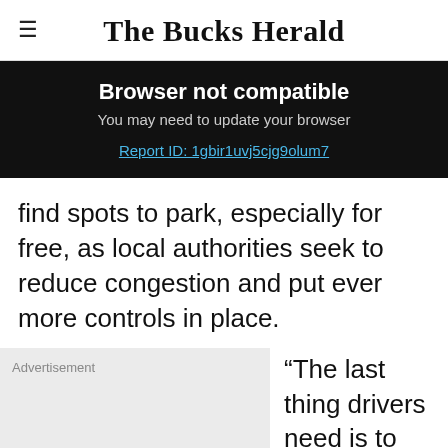The Bucks Herald
Browser not compatible
You may need to update your browser
Report ID: 1gbir1uvj5cjg9olum7
find spots to park, especially for free, as local authorities seek to reduce congestion and put ever more controls in place.
Advertisement
“The last thing drivers need is to come back